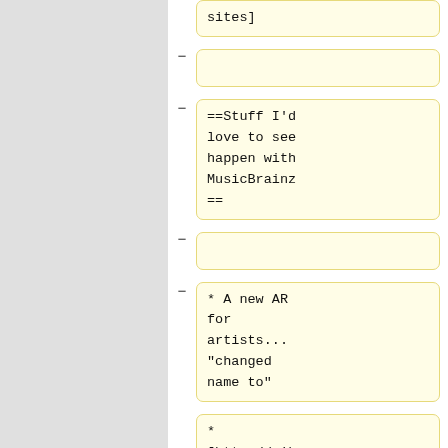sites]
-
==Stuff I'd love to see happen with MusicBrainz ==
-
* A new AR for artists... "changed name to"
* [http://wiki.musicbrainz.org/ArtistPageRedesign/ScreenS